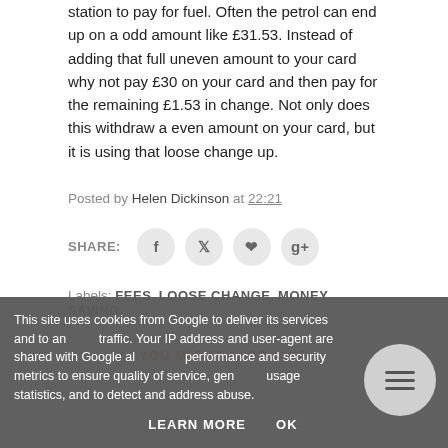station to pay for fuel. Often the petrol can end up on a odd amount like £31.53. Instead of adding that full uneven amount to your card why not pay £30 on your card and then pay for the remaining £1.53 in change. Not only does this withdraw a even amount on your card, but it is using that loose change up.
Posted by Helen Dickinson at 22:21
SHARE:
Labels: FEES, LOOSE CHANGE, MONEY, SAVING
YOU MIGHT ALSO LIKE
This site uses cookies from Google to deliver its services and to analyze traffic. Your IP address and user-agent are shared with Google along with performance and security metrics to ensure quality of service, generate usage statistics, and to detect and address abuse.
LEARN MORE   OK